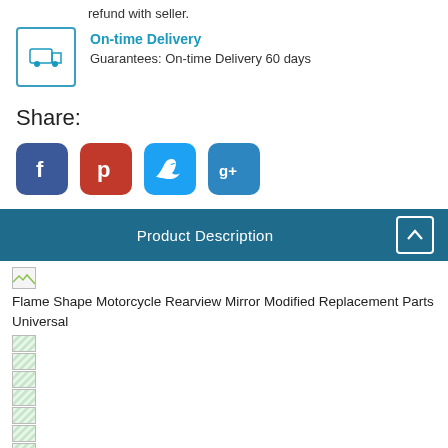refund with seller.
On-time Delivery
Guarantees: On-time Delivery 60 days
Share:
[Figure (other): Social media share buttons: Facebook, Pinterest, Twitter, Google+]
Product Description
Flame Shape Motorcycle Rearview Mirror Modified Replacement Parts Universal